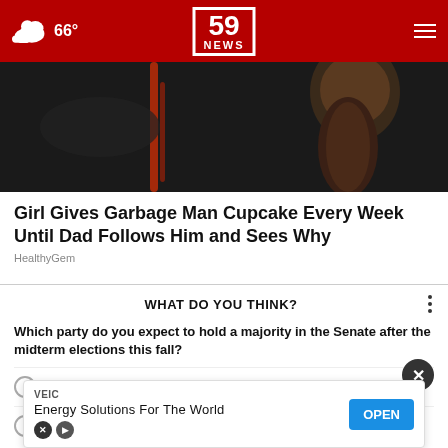66° | 59 NEWS
[Figure (photo): Dark photo showing a child's face partially visible on the right side against a dark background]
Girl Gives Garbage Man Cupcake Every Week Until Dad Follows Him and Sees Why
HealthyGem
WHAT DO YOU THINK?
Which party do you expect to hold a majority in the Senate after the midterm elections this fall?
D
R
[Figure (screenshot): Advertisement banner: VEIC — Energy Solutions For The World with OPEN button]